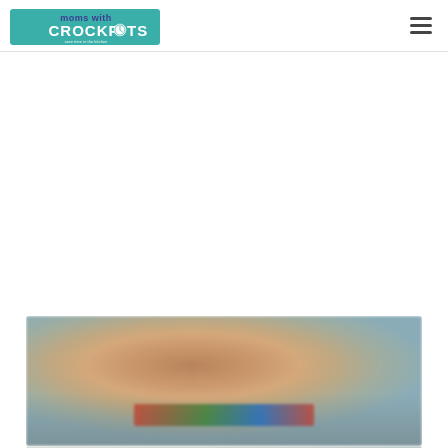moms with crockpots — save time in the kitchen & more time with what you love!
[Figure (photo): Close-up blurry photo of a peanut butter jar (or similar jar) with a colorful label, placed on a surface next to another container. Two adjacent photo crops showing the jar from different angles.]